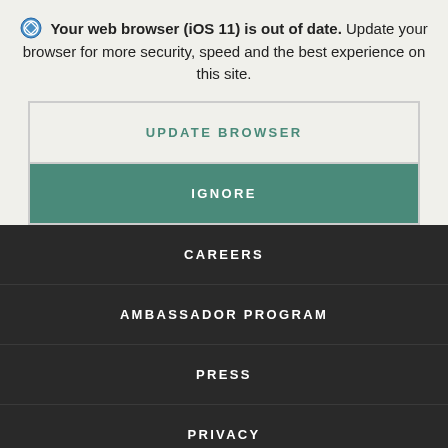🧭 Your web browser (iOS 11) is out of date. Update your browser for more security, speed and the best experience on this site.
UPDATE BROWSER
IGNORE
CAREERS
AMBASSADOR PROGRAM
PRESS
PRIVACY